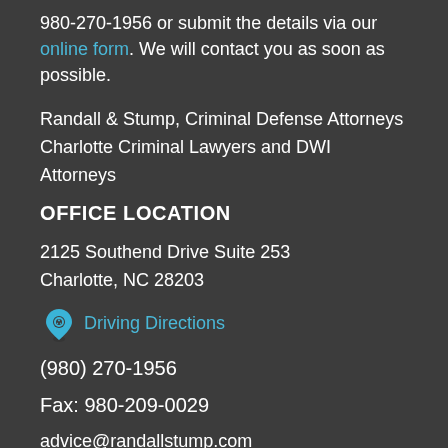980-270-1956 or submit the details via our online form. We will contact you as soon as possible.
Randall & Stump, Criminal Defense Attorneys
Charlotte Criminal Lawyers and DWI Attorneys
OFFICE LOCATION
2125 Southend Drive Suite 253
Charlotte, NC 28203
Driving Directions
(980) 270-1956
Fax: 980-209-0029
advice@randallstump.com